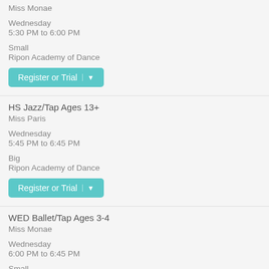Miss Monae
Wednesday
5:30 PM to 6:00 PM
Small
Ripon Academy of Dance
Register or Trial
HS Jazz/Tap Ages 13+
Miss Paris
Wednesday
5:45 PM to 6:45 PM
Big
Ripon Academy of Dance
Register or Trial
WED Ballet/Tap Ages 3-4
Miss Monae
Wednesday
6:00 PM to 6:45 PM
Small